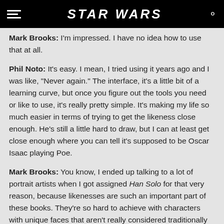STAR WARS
Mark Brooks: I'm impressed. I have no idea how to use that at all.
Phil Noto: It's easy. I mean, I tried using it years ago and I was like, "Never again." The interface, it's a little bit of a learning curve, but once you figure out the tools you need or like to use, it's really pretty simple. It's making my life so much easier in terms of trying to get the likeness close enough. He's still a little hard to draw, but I can at least get close enough where you can tell it's supposed to be Oscar Isaac playing Poe.
Mark Brooks: You know, I ended up talking to a lot of portrait artists when I got assigned Han Solo for that very reason, because likenesses are such an important part of these books. They're so hard to achieve with characters with unique faces that aren't really considered traditionally good looking. They are good looking people, but they're very unique, so I ended up talking to portrait artists that told me don't try